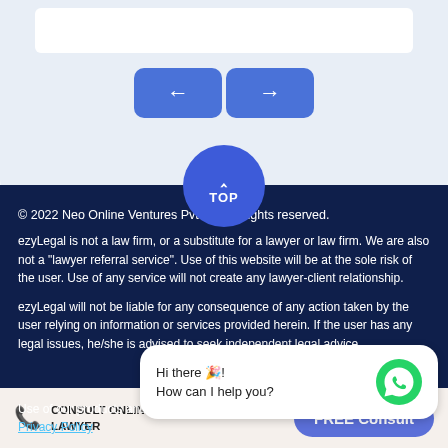[Figure (screenshot): Navigation arrows (left and right) and TOP scroll button on light blue background]
© 2022 Neo Online Ventures Pvt Ltd. All rights reserved.
ezyLegal is not a law firm, or a substitute for a lawyer or law firm. We are also not a "lawyer referral service". Use of this website will be at the sole risk of the user. Use of any service will not create any lawyer-client relationship.
ezyLegal will not be liable for any consequence of any action taken by the user relying on information or services provided herein. If the user has any legal issues, he/she is advised to seek independent legal advice.
Use of our products and services are governed by our Terms of Use and Privacy Policy
[Figure (screenshot): WhatsApp chat bubble overlay: Hi there 🎉! How can I help you? with green WhatsApp icon]
CONSULT ONLINE WILL EXPERT LAWYER
FREE Consult